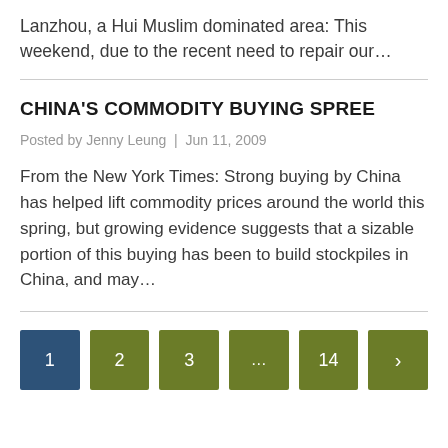Lanzhou, a Hui Muslim dominated area: This weekend, due to the recent need to repair our…
CHINA'S COMMODITY BUYING SPREE
Posted by Jenny Leung  |  Jun 11, 2009
From the New York Times: Strong buying by China has helped lift commodity prices around the world this spring, but growing evidence suggests that a sizable portion of this buying has been to build stockpiles in China, and may…